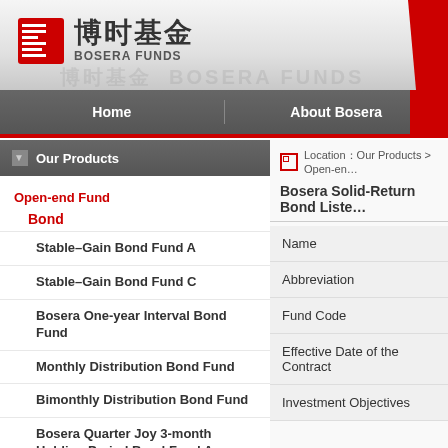[Figure (logo): Bosera Funds logo with Chinese characters 博时基金 and red square icon]
Home | About Bosera
Location: Our Products > Open-end...
Our Products
Open-end Fund
Bond
Stable–Gain Bond Fund A
Stable–Gain Bond Fund C
Bosera One-year Interval Bond Fund
Monthly Distribution Bond Fund
Bimonthly Distribution Bond Fund
Bosera Quarter Joy 3-month Holding Period Bond Fund A
Bosera Solid-Return Bond Liste...
| Field |
| --- |
| Name |
| Abbreviation |
| Fund Code |
| Effective Date of the Contract |
| Investment Objectives |